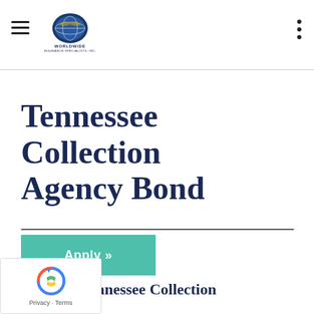Worldwide Insurance Specialists, Inc.
Tennessee Collection Agency Bond
[Figure (other): Apply button — teal/green rectangle with white bold text 'Apply »']
What is an Tennessee Collection Agency Bond?